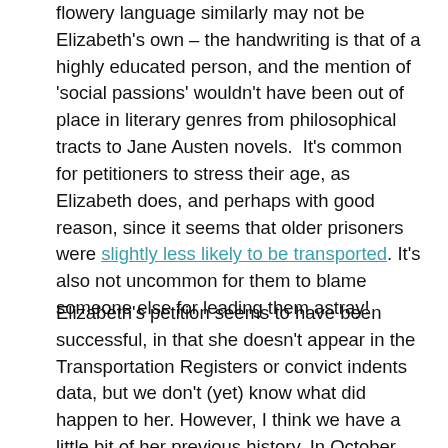flowery language similarly may not be Elizabeth's own – the handwriting is that of a highly educated person, and the mention of 'social passions' wouldn't have been out of place in literary genres from philosophical tracts to Jane Austen novels.  It's common for petitioners to stress their age, as Elizabeth does, and perhaps with good reason, since it seems that older prisoners were slightly less likely to be transported. It's also not uncommon for them to blame someone else for leading them astray!
Elizabeth's petition seems to have been successful, in that she doesn't appear in the Transportation Registers or convict indents data, but we don't (yet) know what did happen to her. However, I think we have a little bit of her previous history. In October 1793, an Elizabeth Morley was tried at the Old Bailey for stealing a variety of items including shirts, napkins, women's clothes and pockets. She was acquitted; much of the evidence against her was quite circumstantial. In the